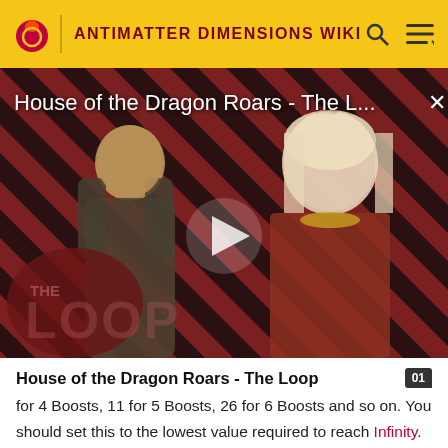ANTIMATTER DIMENSIONS WIKI
[Figure (screenshot): Video thumbnail for 'House of the Dragon Roars - The L...' with diagonal red and dark stripe background, two figures (armored knight and woman), THE LOOP logo overlay, and a play button in the center.]
House of the Dragon Roars - The Loop
for 4 Boosts, 11 for 5 Boosts, 26 for 6 Boosts and so on. You should set this to the lowest value required to reach Infinity. At this point it may be 56, but later it can be lowered by multiples of 15